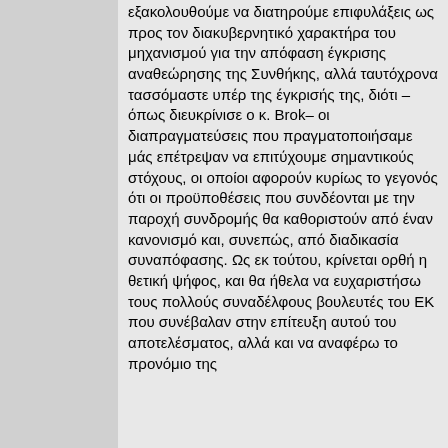εξακολουθούμε να διατηρούμε επιφυλάξεις ως προς τον διακυβερνητικό χαρακτήρα του μηχανισμού για την απόφαση έγκρισης αναθεώρησης της Συνθήκης, αλλά ταυτόχρονα τασσόμαστε υπέρ της έγκρισής της, διότι –όπως διευκρίνισε ο κ. Brok– οι διαπραγματεύσεις που πραγματοποιήσαμε μάς επέτρεψαν να επιτύχουμε σημαντικούς στόχους, οι οποίοι αφορούν κυρίως το γεγονός ότι οι προϋποθέσεις που συνδέονται με την παροχή συνδρομής θα καθοριστούν από έναν κανονισμό και, συνεπώς, από διαδικασία συναπόφασης. Ως εκ τούτου, κρίνεται ορθή η θετική ψήφος, και θα ήθελα να ευχαριστήσω τους πολλούς συναδέλφους βουλευτές του ΕΚ που συνέβαλαν στην επίτευξη αυτού του αποτελέσματος, αλλά και να αναφέρω το προνόμιο της